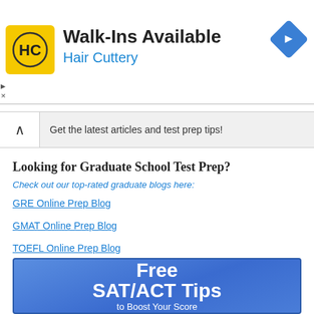[Figure (illustration): Hair Cuttery advertisement banner with yellow HC logo, 'Walk-Ins Available' heading, 'Hair Cuttery' subheading in blue, and a blue diamond navigation icon on the right]
Get the latest articles and test prep tips!
Looking for Graduate School Test Prep?
Check out our top-rated graduate blogs here:
GRE Online Prep Blog
GMAT Online Prep Blog
TOEFL Online Prep Blog
[Figure (infographic): Blue gradient promotional banner reading 'Free SAT/ACT Tips to Boost Your Score']